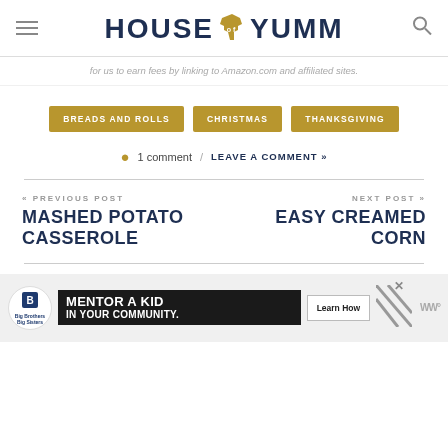HOUSE OF YUMM
for us to earn fees by linking to Amazon.com and affiliated sites.
BREADS AND ROLLS
CHRISTMAS
THANKSGIVING
1 comment / LEAVE A COMMENT »
« PREVIOUS POST
MASHED POTATO CASSEROLE
NEXT POST »
EASY CREAMED CORN
[Figure (other): Advertisement banner for Big Brothers Big Sisters: 'MENTOR A KID IN YOUR COMMUNITY.' with Learn How button]